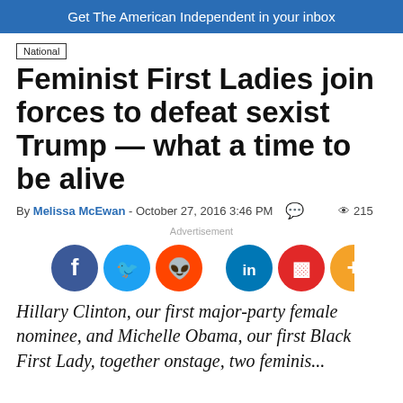Get The American Independent in your inbox
National
Feminist First Ladies join forces to defeat sexist Trump — what a time to be alive
By Melissa McEwan - October 27, 2016 3:46 PM  215
Advertisement
[Figure (infographic): Row of social media share icons: Facebook (blue), Twitter (light blue), Reddit (orange), gap, LinkedIn (blue), Flipboard (red), More/Plus (orange)]
Hillary Clinton, our first major-party female nominee, and Michelle Obama, our first Black First Lady, together onstage, two feminis...